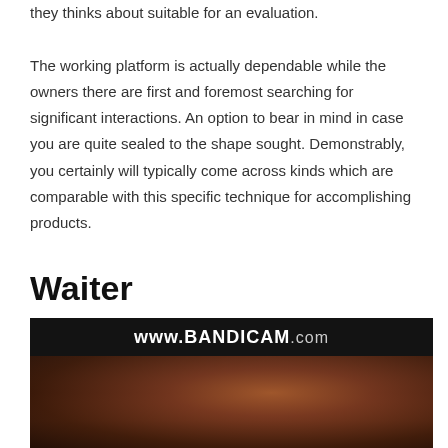they thinks about suitable for an evaluation.

The working platform is actually dependable while the owners there are first and foremost searching for significant interactions. An option to bear in mind in case you are quite sealed to the shape sought. Demonstrably, you certainly will typically come across kinds which are comparable with this specific technique for accomplishing products.
Waiter
[Figure (screenshot): A screenshot with Bandicam watermark (www.BANDICAM.com) overlaid on a dark blurry photo of a person's face/skin.]